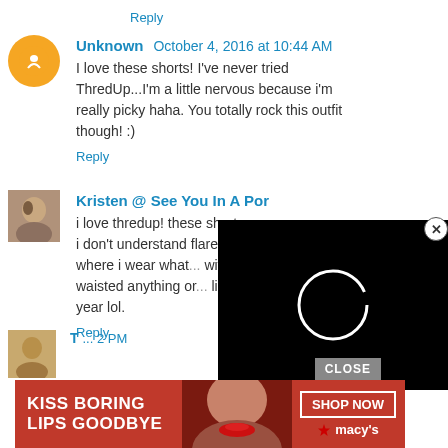Reply
Unknown  October 4, 2016 at 10:44 AM
I love these shorts! I've never tried ThredUp...I'm a little nervous because i'm really picky haha. You totally rock this outfit though! :)
Reply
Kristen @ See You In A Por...
i love thredup! these shorts ar... you.. i don't understand flared... point/age where i wear what... with high waisted anything or... like once a year lol.
Reply
[Figure (screenshot): Black video player overlay with loading spinner circle in center]
CLOSE
[Figure (advertisement): Macy's ad banner: KISS BORING LIPS GOODBYE with SHOP NOW button and Macy's star logo, woman with red lips]
T... 2 PM